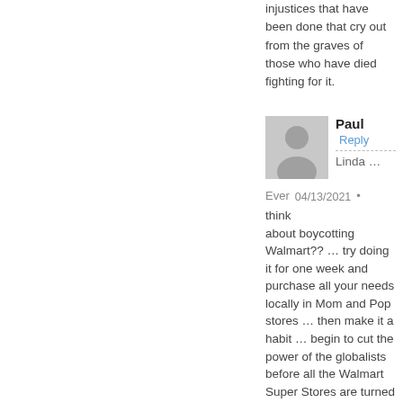injustices that have been done that cry out from the graves of those who have died fighting for it.
[Figure (illustration): Gray placeholder avatar silhouette icon showing head and shoulders of a person]
Paul Reply
---
Linda …
Ever   04/13/2021 •
think
about boycotting Walmart?? … try doing it for one week and purchase all your needs locally in Mom and Pop stores … then make it a habit … begin to cut the power of the globalists before all the Walmart Super Stores are turned into Government Control